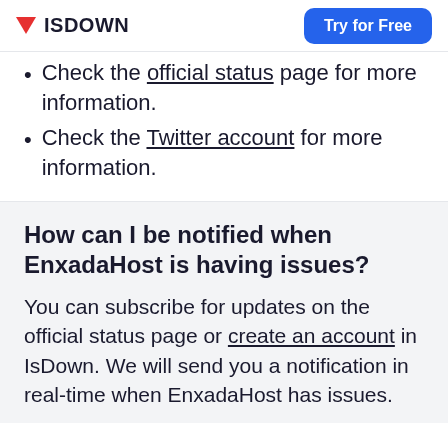ISDOWN | Try for Free
Check the official status page for more information.
Check the Twitter account for more information.
How can I be notified when EnxadaHost is having issues?
You can subscribe for updates on the official status page or create an account in IsDown. We will send you a notification in real-time when EnxadaHost has issues.